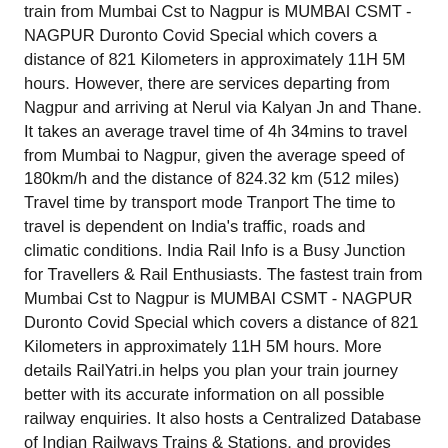train from Mumbai Cst to Nagpur is MUMBAI CSMT - NAGPUR Duronto Covid Special which covers a distance of 821 Kilometers in approximately 11H 5M hours. However, there are services departing from Nagpur and arriving at Nerul via Kalyan Jn and Thane. It takes an average travel time of 4h 34mins to travel from Mumbai to Nagpur, given the average speed of 180km/h and the distance of 824.32 km (512 miles) Travel time by transport mode Tranport The time to travel is dependent on India's traffic, roads and climatic conditions. India Rail Info is a Busy Junction for Travellers & Rail Enthusiasts. The fastest train from Mumbai Cst to Nagpur is MUMBAI CSMT - NAGPUR Duronto Covid Special which covers a distance of 821 Kilometers in approximately 11H 5M hours. More details RailYatri.in helps you plan your train journey better with its accurate information on all possible railway enquiries. It also hosts a Centralized Database of Indian Railways Trains & Stations, and provides crowd-sourced IRCTC Train Enquiry Services. mumbai cst. Everyday many travellers